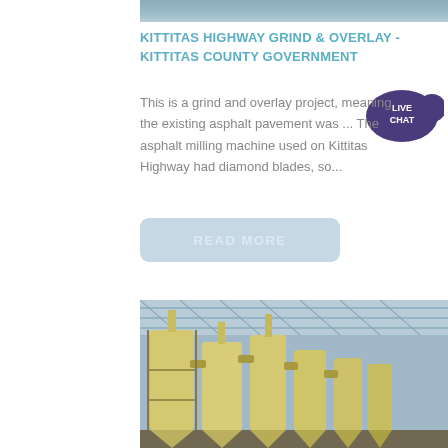[Figure (photo): Top portion of a road or construction site photo, partially visible at top of page]
KITTITAS HIGHWAY GRIND & OVERLAY - KITTITAS COUNTY GOVERNMENT
[Figure (other): Live Chat badge/button overlay - dark purple speech bubble with LIVE CHAT text]
This is a grind and overlay project, meaning the existing asphalt pavement was ... The asphalt milling machine used on Kittitas Highway had diamond blades, so...
[Figure (other): READ MORE button - light blue rounded rectangle]
[Figure (photo): Industrial facility interior showing tall cream/yellow cyclone separators or industrial silos in a large warehouse with metal roof trusses]